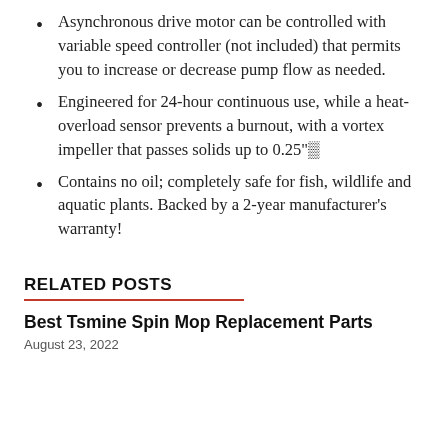Asynchronous drive motor can be controlled with variable speed controller (not included) that permits you to increase or decrease pump flow as needed.
Engineered for 24-hour continuous use, while a heat-overload sensor prevents a burnout, with a vortex impeller that passes solids up to 0.25"⊙
Contains no oil; completely safe for fish, wildlife and aquatic plants. Backed by a 2-year manufacturer's warranty!
RELATED POSTS
Best Tsmine Spin Mop Replacement Parts